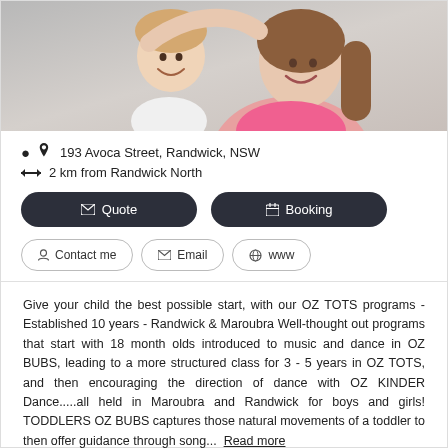[Figure (photo): Photo of a smiling woman and a young child hugging, woman wearing pink top, light grey background]
193 Avoca Street, Randwick, NSW
2 km from Randwick North
Quote
Booking
Contact me
Email
www
Give your child the best possible start, with our OZ TOTS programs - Established 10 years - Randwick & Maroubra Well-thought out programs that start with 18 month olds introduced to music and dance in OZ BUBS, leading to a more structured class for 3 - 5 years in OZ TOTS, and then encouraging the direction of dance with OZ KINDER Dance.....all held in Maroubra and Randwick for boys and girls! TODDLERS OZ BUBS captures those natural movements of a toddler to then offer guidance through song...  Read more